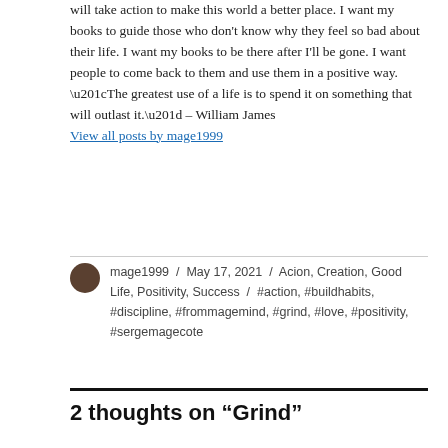will take action to make this world a better place. I want my books to guide those who don't know why they feel so bad about their life. I want my books to be there after I'll be gone. I want people to come back to them and use them in a positive way. “The greatest use of a life is to spend it on something that will outlast it.” – William James
View all posts by mage1999
mage1999 / May 17, 2021 / Acion, Creation, Good Life, Positivity, Success / #action, #buildhabits, #discipline, #frommagemind, #grind, #love, #positivity, #sergemagecote
2 thoughts on “Grind”